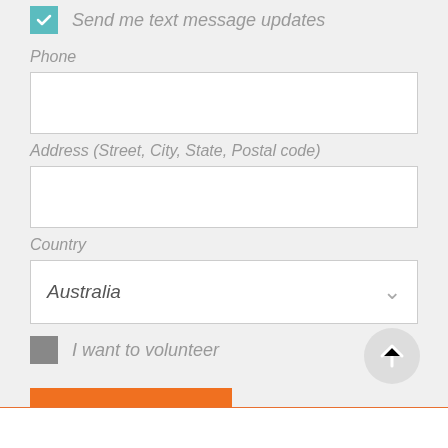Send me text message updates
Phone
Address (Street, City, State, Postal code)
Country
I want to volunteer
ADD SIGNATURE